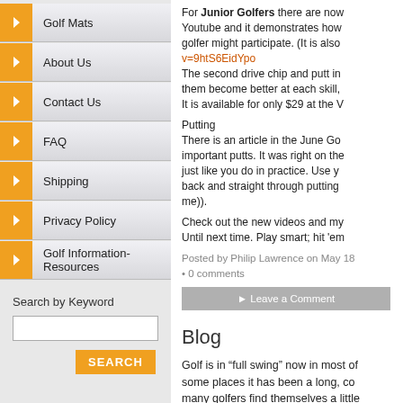Golf Mats
About Us
Contact Us
FAQ
Shipping
Privacy Policy
Golf Information-Resources
Search by Keyword
For Junior Golfers there are now... Youtube and it demonstrates how... golfer might participate. (It is also v=9htS6EidYpo The second drive chip and putt in... them become better at each skill,... It is available for only $29 at the V...
Putting
There is an article in the June Go... important putts. It was right on the... just like you do in practice. Use y... back and straight through putting... me)).
Check out the new videos and my...
Until next time. Play smart; hit 'em...
Posted by Philip Lawrence on May 18 • 0 comments
► Leave a Comment
Blog
Golf is in "full swing" now in most o... some places it has been a long, co... many golfers find themselves a little... I have placed some new instruction... https://vimeo.com/golfinstructioncou... These free instruction videos add to... demand.
see https://vimeo.com/ondemand/g...
A graphic student instruction manu...